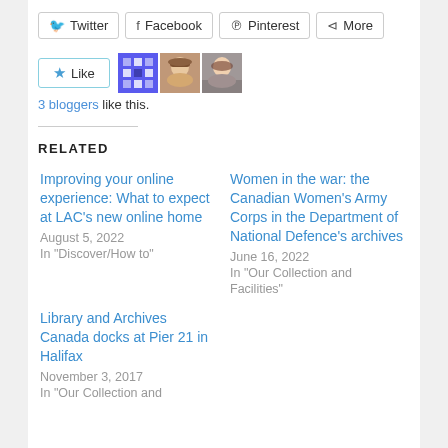Twitter  Facebook  Pinterest  More
[Figure (other): Like button with star icon and 3 blogger avatars]
3 bloggers like this.
RELATED
Improving your online experience: What to expect at LAC's new online home
August 5, 2022
In "Discover/How to"
Women in the war: the Canadian Women's Army Corps in the Department of National Defence's archives
June 16, 2022
In "Our Collection and Facilities"
Library and Archives Canada docks at Pier 21 in Halifax
November 3, 2017
In "Our Collection and